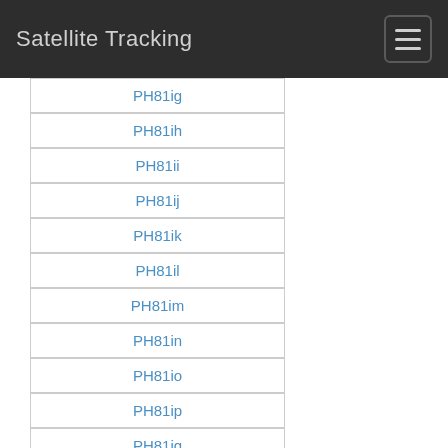Satellite Tracking
PH81ig
PH81ih
PH81ii
PH81ij
PH81ik
PH81il
PH81im
PH81in
PH81io
PH81ip
PH81iq
PH81ir
PH81is
PH81it
PH81iu
PH81iv
PH81iw